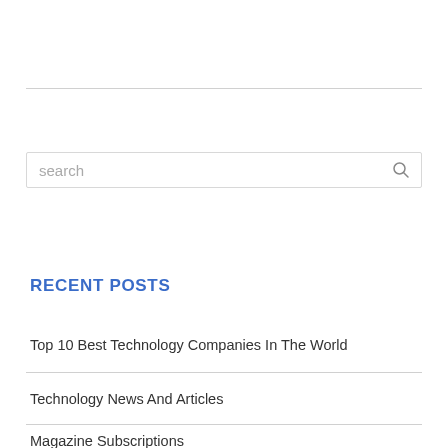[Figure (screenshot): Search bar with placeholder text 'search' and a magnifying glass icon on the right]
RECENT POSTS
Top 10 Best Technology Companies In The World
Technology News And Articles
Magazine Subscriptions